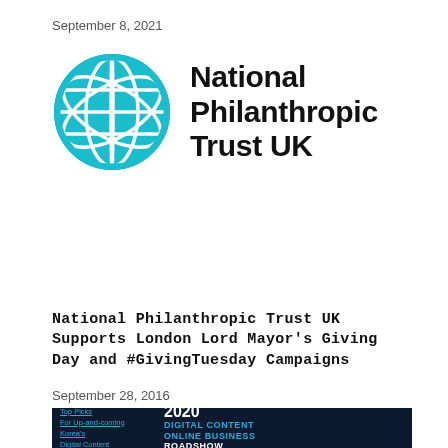September 8, 2021
[Figure (logo): National Philanthropic Trust UK logo: teal globe icon with grid lines and text 'National Philanthropic Trust UK']
National Philanthropic Trust UK Supports London Lord Mayor's Giving Day and #GivingTuesday Campaigns
September 28, 2016
[Figure (screenshot): Dark navy banner for '2020 Digital Content Online Business Roadshow' with left side showing teal links: 'Top Picks For Up-and-coming Korea's Digital Content']